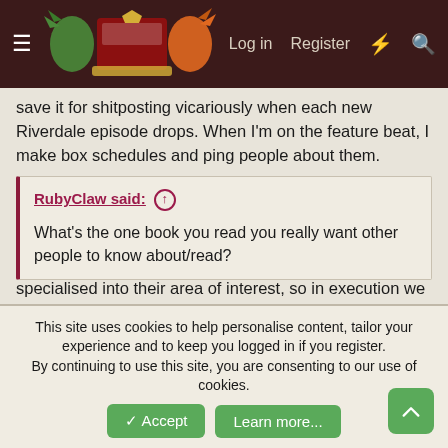[Figure (screenshot): Website navigation bar with dark brown background, hamburger menu icon, dragon/pokemon coat of arms logo, Log in, Register, lightning bolt and search icons]
save it for shitposting vicariously when each new Riverdale episode drops. When I'm on the feature beat, I make box schedules and ping people about them.
We're actually currently a little understaffed! While we have enough hands on deck to run events, it's actually features themselves where we're coming up a little shorthanded. Each feature team member has informally specialised into their area of interest, so in execution we only have 1-2 featurers per medium. If you're ever interested in writing features, please reach out!!)
RubyClaw said: ↑
What's the one book you read you really want other people to know about/read?
This site uses cookies to help personalise content, tailor your experience and to keep you logged in if you register.
By continuing to use this site, you are consenting to our use of cookies.